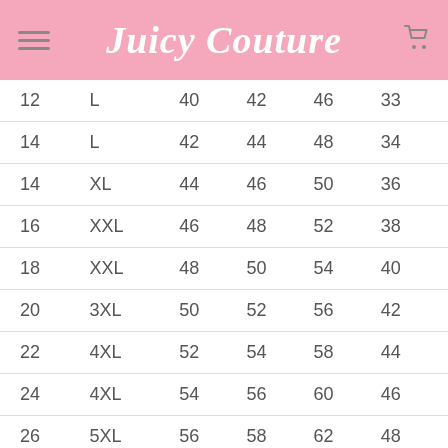Juicy Couture
| 12 | L | 40 | 42 | 46 | 33 |
| 14 | L | 42 | 44 | 48 | 34 |
| 14 | XL | 44 | 46 | 50 | 36 |
| 16 | XXL | 46 | 48 | 52 | 38 |
| 18 | XXL | 48 | 50 | 54 | 40 |
| 20 | 3XL | 50 | 52 | 56 | 42 |
| 22 | 4XL | 52 | 54 | 58 | 44 |
| 24 | 4XL | 54 | 56 | 60 | 46 |
| 26 | 5XL | 56 | 58 | 62 | 48 |
| 28 | 6XL | 58 | 60 | 64 | 50 |
| 30 | 6XL | 60 | 62 | 66 | 52 |
| 32 | 7XL | 62 | 64 | 68 | 54 |
| 34 | ... | 64 | 66 | 70 | 56 |